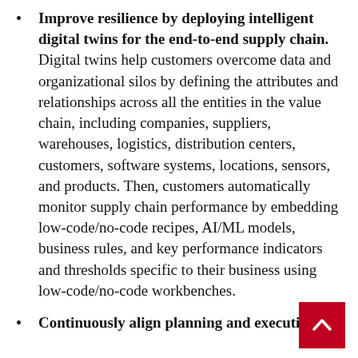Improve resilience by deploying intelligent digital twins for the end-to-end supply chain. Digital twins help customers overcome data and organizational silos by defining the attributes and relationships across all the entities in the value chain, including companies, suppliers, warehouses, logistics, distribution centers, customers, software systems, locations, sensors, and products. Then, customers automatically monitor supply chain performance by embedding low-code/no-code recipes, AI/ML models, business rules, and key performance indicators and thresholds specific to their business using low-code/no-code workbenches.
Continuously align planning and execution by delivering near real-time predictions...